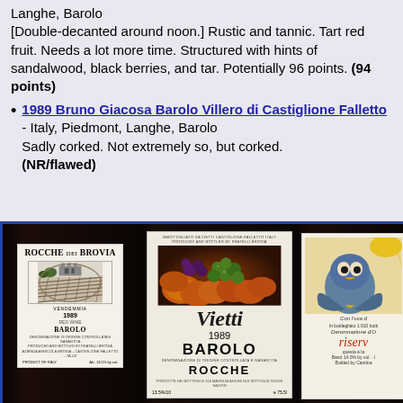Langhe, Barolo
[Double-decanted around noon.] Rustic and tannic. Tart red fruit. Needs a lot more time. Structured with hints of sandalwood, black berries, and tar. Potentially 96 points. (94 points)
1989 Bruno Giacosa Barolo Villero di Castiglione Falletto - Italy, Piedmont, Langhe, Barolo
Sadly corked. Not extremely so, but corked. (NR/flawed)
[Figure (photo): Three wine bottle labels: Rocche dei Brovia 1989 Barolo, Vietti 1989 Barolo Rocche, and a third partially visible wine label (riserva). Photo of wine bottles side by side.]